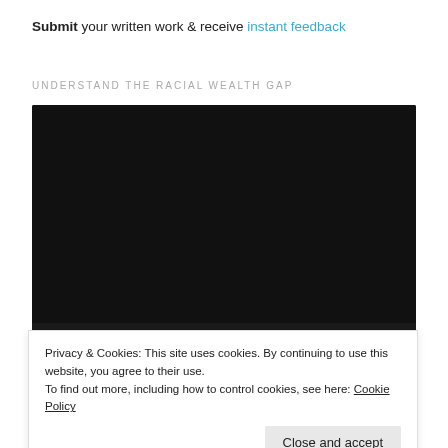Submit your written work & receive instant feedback
UNDERSTAND THE RACIAL WEALTH GAP
[Figure (screenshot): Video player with black screen showing 00:00 / 16:13 with play button and progress bar]
Privacy & Cookies: This site uses cookies. By continuing to use this website, you agree to their use.
To find out more, including how to control cookies, see here: Cookie Policy
Close and accept